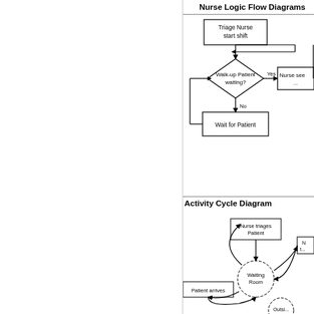Nurse Logic Flow Diagrams
[Figure (flowchart): Flowchart showing Triage Nurse logic: start shift, check Walk-up Patient waiting? Yes -> Nurse sees patient, No -> Wait for Patient, loops back]
Activity Cycle Diagram
[Figure (flowchart): Activity cycle diagram showing: Patient arrives -> Waiting Room -> Nurse triages Patient -> (partial, cut off on right) with circular nodes and rectangular process boxes]